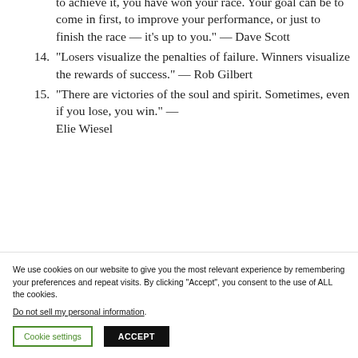to achieve it, you have won your race. Your goal can be to come in first, to improve your performance, or just to finish the race — it's up to you." — Dave Scott
14. "Losers visualize the penalties of failure. Winners visualize the rewards of success." — Rob Gilbert
15. "There are victories of the soul and spirit. Sometimes, even if you lose, you win." — Elie Wiesel
We use cookies on our website to give you the most relevant experience by remembering your preferences and repeat visits. By clicking "Accept", you consent to the use of ALL the cookies.
Do not sell my personal information.
Cookie settings   ACCEPT